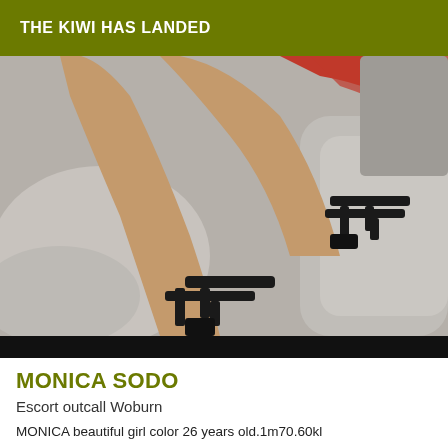THE KIWI HAS LANDED
[Figure (photo): Photo of a woman's legs in black strappy high-heel shoes, reclining on a grey sofa, wearing red clothing at the top. The image is cropped showing legs and shoes prominently.]
MONICA SODO
Escort outcall Woburn
MONICA beautiful girl color 26 years old.1m70.60kl